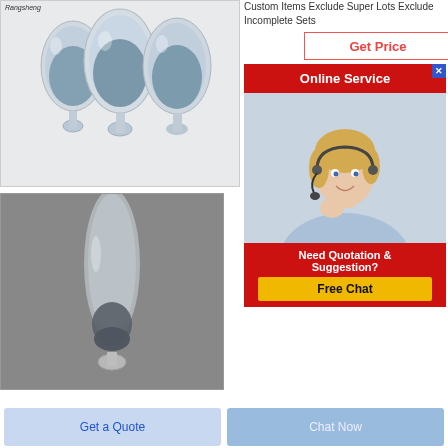[Figure (photo): Three glass egg-shaped containers filled with blue-grey powder, branded Rangsheng]
Custom Items Exclude Super Lots Exclude Incomplete Sets
[Figure (other): Get Price button with red border]
[Figure (other): Online Service red banner with close X button]
[Figure (photo): Customer service agent woman with headset smiling]
[Figure (other): Need Quotation & Suggestion? Free Chat box in red with yellow button]
[Figure (photo): Single glass egg-shaped container with blue-grey powder on grey background]
[Figure (other): Get a Quote button]
[Figure (other): Chat Now button]